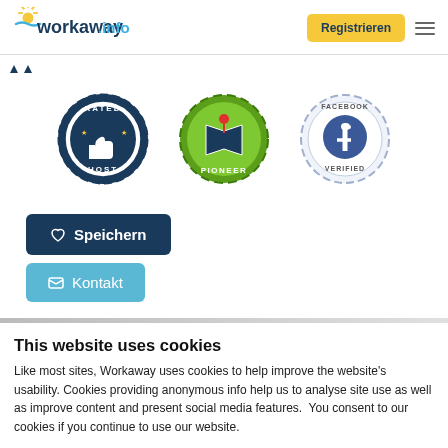[Figure (logo): Workaway.info logo with sun graphic]
Registrieren
[Figure (illustration): Three badges: Rated Host (thumbs up), Pioneer (map), Facebook Verified]
♡ Speichern
✉ Kontakt
This website uses cookies
Like most sites, Workaway uses cookies to help improve the website's usability. Cookies providing anonymous info help us to analyse site use as well as improve content and present social media features.  You consent to our cookies if you continue to use our website.
OK
Settings